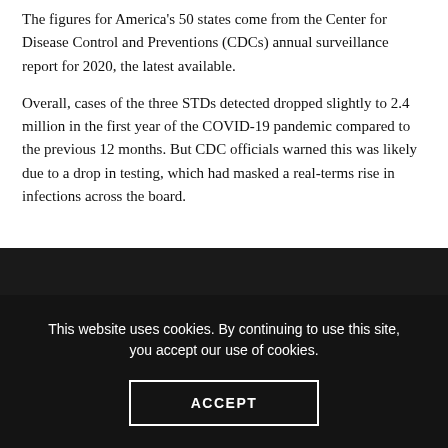The figures for America's 50 states come from the Center for Disease Control and Preventions (CDCs) annual surveillance report for 2020, the latest available.
Overall, cases of the three STDs detected dropped slightly to 2.4 million in the first year of the COVID-19 pandemic compared to the previous 12 months. But CDC officials warned this was likely due to a drop in testing, which had masked a real-terms rise in infections across the board.
This website uses cookies. By continuing to use this site, you accept our use of cookies.
ACCEPT